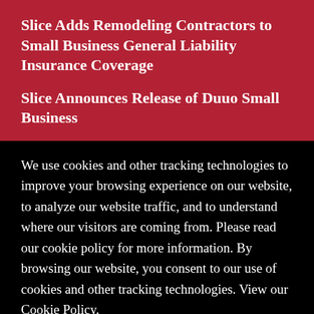Slice Adds Remodeling Contractors to Small Business General Liability Insurance Coverage
Slice Announces Release of Duuo Small Business
We use cookies and other tracking technologies to improve your browsing experience on our website, to analyze our website traffic, and to understand where our visitors are coming from. Please read our cookie policy for more information. By browsing our website, you consent to our use of cookies and other tracking technologies. View our Cookie Policy.
Close
Accept Cookies